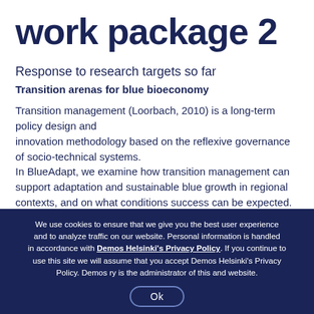work package 2
Response to research targets so far
Transition arenas for blue bioeconomy
Transition management (Loorbach, 2010) is a long-term policy design and innovation methodology based on the reflexive governance of socio-technical systems. In BlueAdapt, we examine how transition management can support adaptation and sustainable blue growth in regional contexts, and on what conditions success can be expected. In transition arenas, practitioners from different
We use cookies to ensure that we give you the best user experience and to analyze traffic on our website. Personal information is handled in accordance with Demos Helsinki's Privacy Policy. If you continue to use this site we will assume that you accept Demos Helsinki's Privacy Policy. Demos ry is the administrator of this and website. Ok